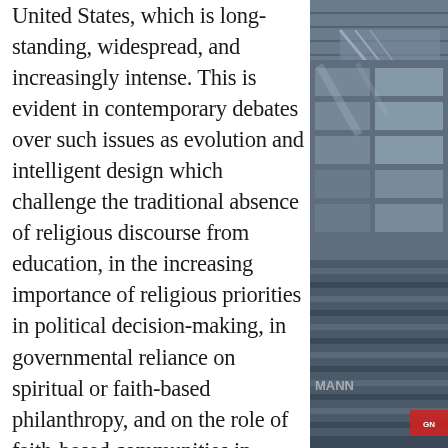United States, which is long-standing, widespread, and increasingly intense. This is evident in contemporary debates over such issues as evolution and intelligent design which challenge the traditional absence of religious discourse from education, in the increasing importance of religious priorities in political decision-making, in governmental reliance on spiritual or faith-based philanthropy, and on the role of faith-based communities in lobbying for legislation or bringing out the vote to elect candidates. Given the increasing number of calls we are hearing for lowering the “wall of separation” erected between church and state by our Constitution,
[Figure (photo): Photograph of a modern glass and steel building interior/exterior, showing escalators and architectural elements with horizontal lines and glass facade. A partial red sign visible at bottom right.]